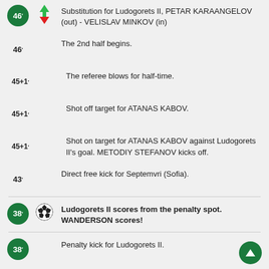46′ Substitution for Ludogorets II, PETAR KARAANGELOV (out) - VELISLAV MINKOV (in)
46′ The 2nd half begins.
45+1′ The referee blows for half-time.
45+1′ Shot off target for ATANAS KABOV.
45+1′ Shot on target for ATANAS KABOV against Ludogorets II's goal. METODIY STEFANOV kicks off.
43′ Direct free kick for Septemvri (Sofia).
38′ Ludogorets II scores from the penalty spot. WANDERSON scores!
38′ Penalty kick for Ludogorets II.